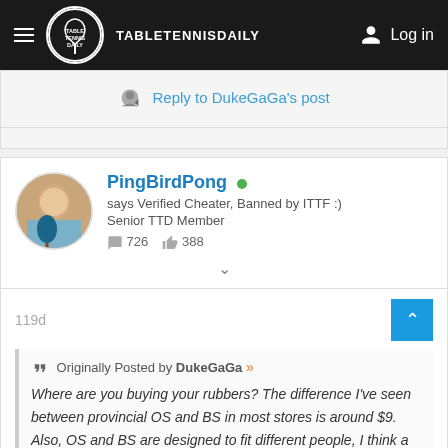TableTennisDaily — Log in
Reply to DukeGaGa's post
PingBirdPong • says Verified Cheater, Banned by ITTF :) Senior TTD Member • 726 comments • 388 likes
119d
Originally Posted by DukeGaGa
Where are you buying your rubbers? The difference I've seen between provincial OS and BS in most stores is around $9. Also, OS and BS are designed to fit different people, I think a $9 difference is worth it, but that's just me.